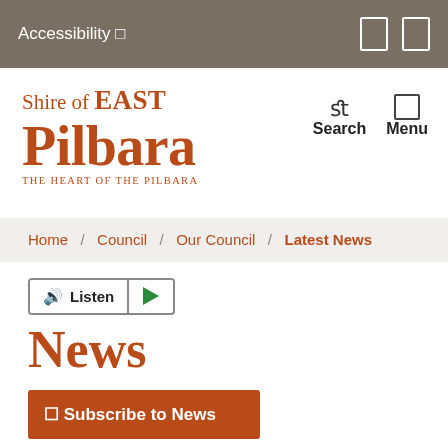Accessibility 🔲  🔲 🔲
[Figure (logo): Shire of EAST Pilbara — THE HEART OF THE PILBARA logo in burnt orange/red serif font]
Search  Menu
Home / Council / Our Council / Latest News
Listen ▶
News
Subscribe to News